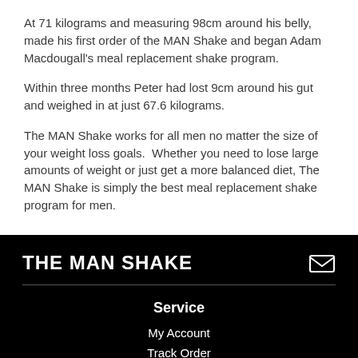At 71 kilograms and measuring 98cm around his belly, made his first order of the MAN Shake and began Adam Macdougall's meal replacement shake program.
Within three months Peter had lost 9cm around his gut and weighed in at just 67.6 kilograms.
The MAN Shake works for all men no matter the size of your weight loss goals.  Whether you need to lose large amounts of weight or just get a more balanced diet, The MAN Shake is simply the best meal replacement shake program for men.
THE MAN SHAKE
Service
My Account
Track Order